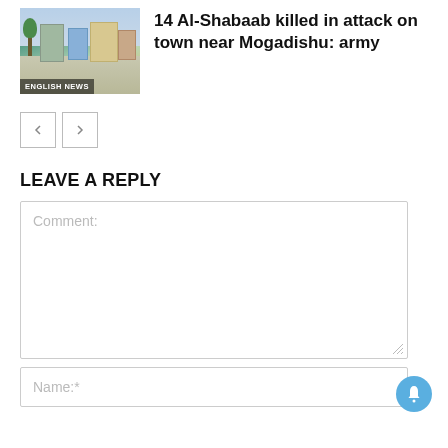[Figure (photo): Street scene photo with buildings and trees, labeled ENGLISH NEWS]
14 Al-Shabaab killed in attack on town near Mogadishu: army
< >
LEAVE A REPLY
Comment:
Name:*